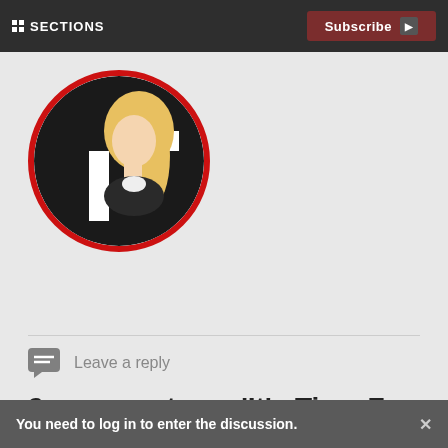SECTIONS  Subscribe
[Figure (illustration): Circular avatar with red border showing a stylized illustration: a blonde woman in profile overlaid on a black and white geometric/swastika-like symbol pattern]
Leave a reply
2 comments on 'It's Time For The Alt-Right To Grow Up'
You need to log in to enter the discussion.